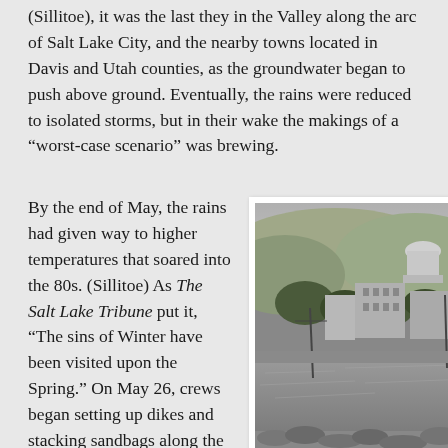(Sillitoe), it was the last they in the Valley along the arc of Salt Lake City, and the nearby towns located in Davis and Utah counties, as the groundwater began to push above ground. Eventually, the rains were reduced to isolated storms, but in their wake the makings of a “worst-case scenario” was brewing.
By the end of May, the rains had given way to higher temperatures that soared into the 80s. (Sillitoe) As The Salt Lake Tribune put it, “The sins of Winter have been visited upon the Spring.” On May 26, crews began setting up dikes and stacking sandbags along the east-to-west thoroughfare of
[Figure (photo): Black and white historical photograph showing a flooded street in Salt Lake City with water flowing through streets, the Utah State Capitol building visible in the background on a hill, mountains behind it, and sandbags or debris in the foreground.]